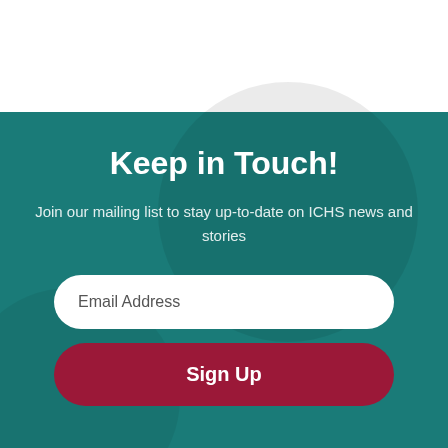Keep in Touch!
Join our mailing list to stay up-to-date on ICHS news and stories
Email Address
Sign Up